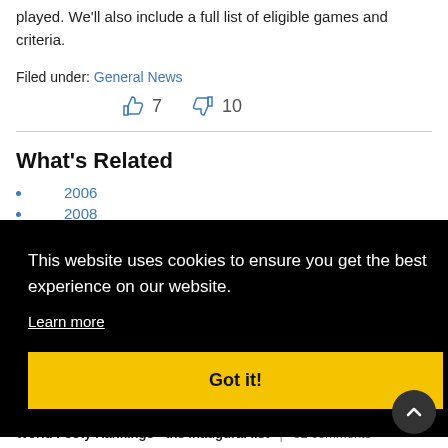played. We'll also include a full list of eligible games and criteria.
Filed under: General News
👍 7   👎 10
What's Related
2006
2008
This website uses cookies to ensure you get the best experience on our website.
Learn more
Got it!
World Footy Rankings - the inaugural list | 32 comments